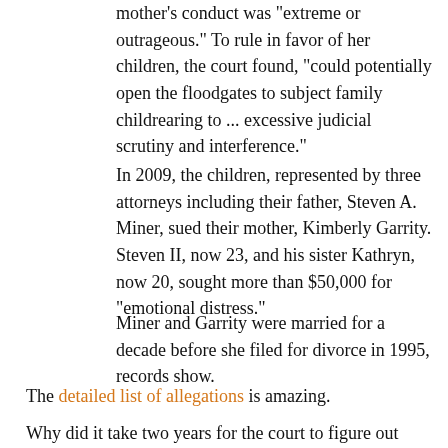mother's conduct was "extreme or outrageous." To rule in favor of her children, the court found, "could potentially open the floodgates to subject family childrearing to ... excessive judicial scrutiny and interference."
In 2009, the children, represented by three attorneys including their father, Steven A. Miner, sued their mother, Kimberly Garrity. Steven II, now 23, and his sister Kathryn, now 20, sought more than $50,000 for "emotional distress."
Miner and Garrity were married for a decade before she filed for divorce in 1995, records show.
The detailed list of allegations is amazing.
Why did it take two years for the court to figure out what to do with this ridiculous lawsuit? I am beginning to think that maybe lawyers should not be allowed to have kids. They have attitudes that are not conducive to sensible child-